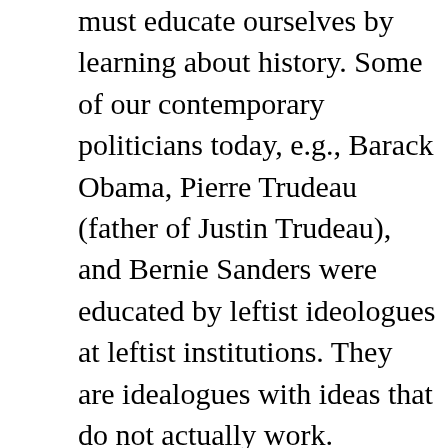must educate ourselves by learning about history. Some of our contemporary politicians today, e.g., Barack Obama, Pierre Trudeau (father of Justin Trudeau), and Bernie Sanders were educated by leftist ideologues at leftist institutions. They are idealogues with ideas that do not actually work.

They did not see the full scope of history along with their mistakes. They were also misguided by the charade of socialism, and by the omission of Communist errors. Have you ever heard them talk about the tragic errors of historic Communism? No! It does not register on their level of consciousness. You will only hear and learn about these historic mistakes by